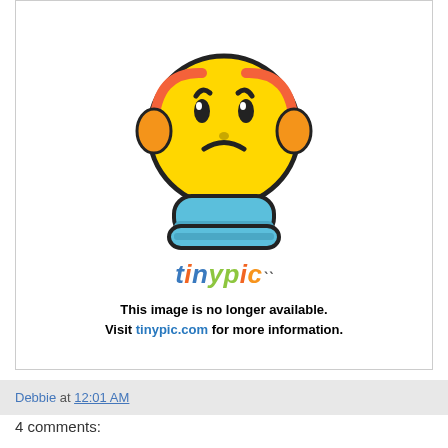[Figure (illustration): Tinypic 'image no longer available' placeholder showing a distressed yellow emoji face with headphones, blue body, and the tinypic colorful logo, with text: 'This image is no longer available. Visit tinypic.com for more information.']
Debbie at 12:01 AM
4 comments: